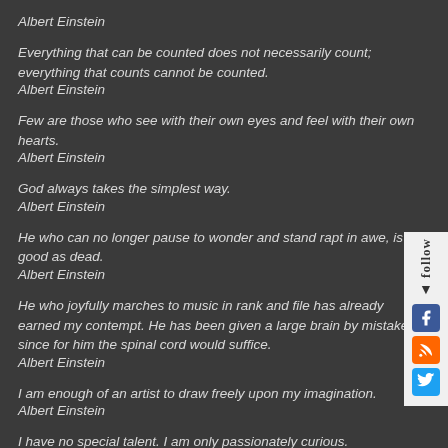Albert Einstein
Everything that can be counted does not necessarily count; everything that counts cannot be counted.
Albert Einstein
Few are those who see with their own eyes and feel with their own hearts.
Albert Einstein
God always takes the simplest way.
Albert Einstein
He who can no longer pause to wonder and stand rapt in awe, is as good as dead.
Albert Einstein
He who joyfully marches to music in rank and file has already earned my contempt. He has been given a large brain by mistake, since for him the spinal cord would suffice.
Albert Einstein
I am enough of an artist to draw freely upon my imagination.
Albert Einstein
I have no special talent. I am only passionately curious.
Albert Einstein